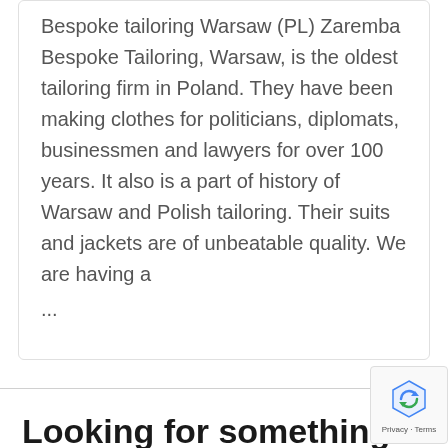Bespoke tailoring Warsaw (PL) Zaremba Bespoke Tailoring, Warsaw, is the oldest tailoring firm in Poland. They have been making clothes for politicians, diplomats, businessmen and lawyers for over 100 years. It also is a part of history of Warsaw and Polish tailoring. Their suits and jackets are of unbeatable quality. We are having a
...
Looking for something?
[Figure (other): Search bar with magnifying glass icon and placeholder text 'Search']